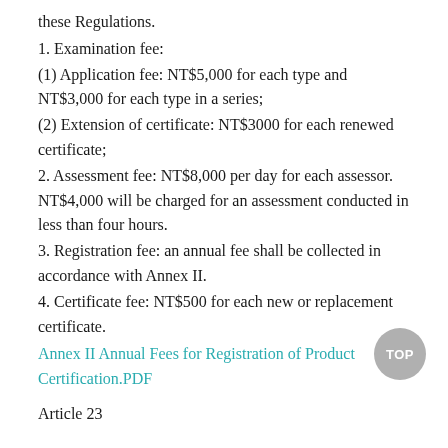these Regulations.
1. Examination fee:
(1) Application fee: NT$5,000 for each type and NT$3,000 for each type in a series;
(2) Extension of certificate: NT$3000 for each renewed certificate;
2. Assessment fee: NT$8,000 per day for each assessor. NT$4,000 will be charged for an assessment conducted in less than four hours.
3. Registration fee: an annual fee shall be collected in accordance with Annex II.
4. Certificate fee: NT$500 for each new or replacement certificate.
Annex II Annual Fees for Registration of Product Certification.PDF
Article 23